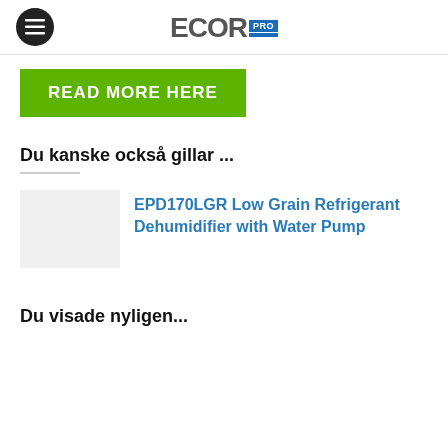ECOR PRO
READ MORE HERE
Du kanske också gillar ...
EPD170LGR Low Grain Refrigerant Dehumidifier with Water Pump
Du visade nyligen...